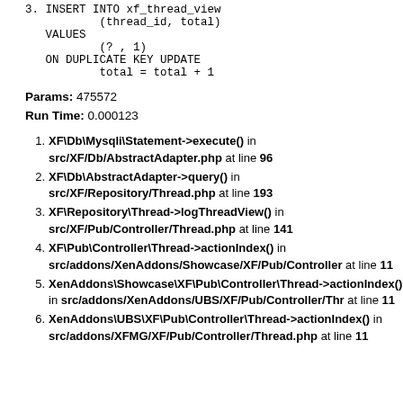3. INSERT INTO xf_thread_view
           (thread_id, total)
   VALUES
           (? , 1)
   ON DUPLICATE KEY UPDATE
           total = total + 1
Params: 475572
Run Time: 0.000123
XF\Db\Mysqli\Statement->execute() in src/XF/Db/AbstractAdapter.php at line 96
XF\Db\AbstractAdapter->query() in src/XF/Repository/Thread.php at line 193
XF\Repository\Thread->logThreadView() in src/XF/Pub/Controller/Thread.php at line 141
XF\Pub\Controller\Thread->actionIndex() in src/addons/XenAddons/Showcase/XF/Pub/Controller at line 11
XenAddons\Showcase\XF\Pub\Controller\Thread->actionIndex() in src/addons/XenAddons/UBS/XF/Pub/Controller/Thr at line 11
XenAddons\UBS\XF\Pub\Controller\Thread->actionIndex() in src/addons/XFMG/XF/Pub/Controller/Thread.php at line 11